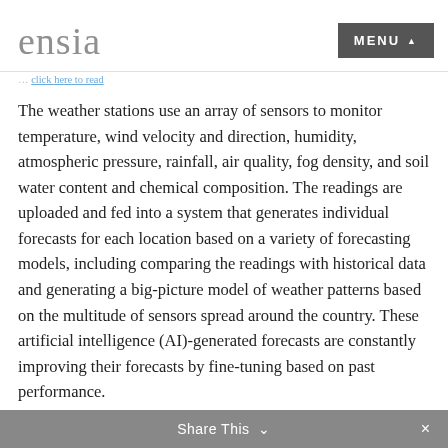ensia | MENU
The weather stations use an array of sensors to monitor temperature, wind velocity and direction, humidity, atmospheric pressure, rainfall, air quality, fog density, and soil water content and chemical composition. The readings are uploaded and fed into a system that generates individual forecasts for each location based on a variety of forecasting models, including comparing the readings with historical data and generating a big-picture model of weather patterns based on the multitude of sensors spread around the country. These artificial intelligence (AI)-generated forecasts are constantly improving their forecasts by fine-tuning based on past performance.
“On a village-to-village level, each farmer will get forecasts and [advice] a fortnight in advance,” Singh says. “This is something they’ve never had.”
Share This ⌄  ×